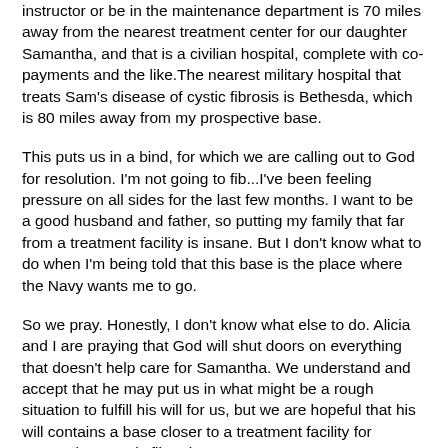instructor or be in the maintenance department is 70 miles away from the nearest treatment center for our daughter Samantha, and that is a civilian hospital, complete with co-payments and the like.The nearest military hospital that treats Sam's disease of cystic fibrosis is Bethesda, which is 80 miles away from my prospective base.
This puts us in a bind, for which we are calling out to God for resolution. I'm not going to fib...I've been feeling pressure on all sides for the last few months. I want to be a good husband and father, so putting my family that far from a treatment facility is insane. But I don't know what to do when I'm being told that this base is the place where the Navy wants me to go.
So we pray. Honestly, I don't know what else to do. Alicia and I are praying that God will shut doors on everything that doesn't help care for Samantha. We understand and accept that he may put us in what might be a rough situation to fulfill his will for us, but we are hopeful that his will contains a base closer to a treatment facility for Samantha's cystic fibrosis.